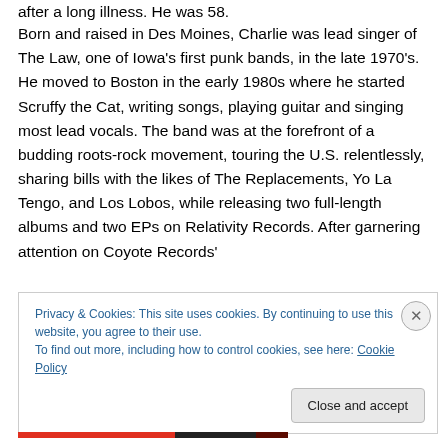after a long illness. He was 58.
Born and raised in Des Moines, Charlie was lead singer of The Law, one of Iowa's first punk bands, in the late 1970's. He moved to Boston in the early 1980s where he started Scruffy the Cat, writing songs, playing guitar and singing most lead vocals. The band was at the forefront of a budding roots-rock movement, touring the U.S. relentlessly, sharing bills with the likes of The Replacements, Yo La Tengo, and Los Lobos, while releasing two full-length albums and two EPs on Relativity Records. After garnering attention on Coyote Records'
Privacy & Cookies: This site uses cookies. By continuing to use this website, you agree to their use.
To find out more, including how to control cookies, see here: Cookie Policy